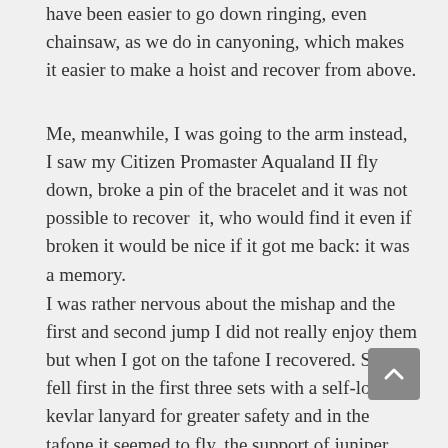have been easier to go down ringing, even chainsaw, as we do in canyoning, which makes it easier to make a hoist and recover from above.
Me, meanwhile, I was going to the arm instead, I saw my Citizen Promaster Aqualand II fly down, broke a pin of the bracelet and it was not possible to recover it, who would find it even if broken it would be nice if it got me back: it was a memory.
I was rather nervous about the mishap and the first and second jump I did not really enjoy them but when I got on the tafone I recovered. Sara fell first in the first three sets with a self-locking kevlar lanyard for greater safety and in the tafone it seemed to fly, the support of juniper wood to avoid damaging the rope that is also seen in the video is a cutthroat, stuff luxury that only here in Costa Smeralda